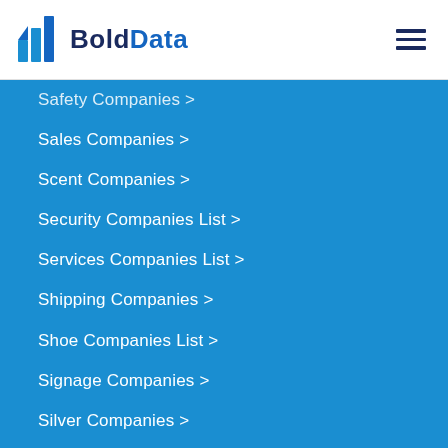BoldData
Safety Companies >
Sales Companies >
Scent Companies >
Security Companies List >
Services Companies List >
Shipping Companies >
Shoe Companies List >
Signage Companies >
Silver Companies >
Software Companies >
Solar Companies List >
Sport Companies List >
Sportswear Companies >